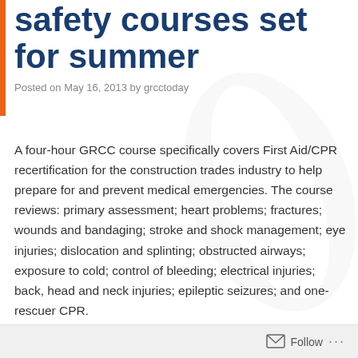safety courses set for summer
Posted on May 16, 2013 by grcctoday
A four-hour GRCC course specifically covers First Aid/CPR recertification for the construction trades industry to help prepare for and prevent medical emergencies. The course reviews: primary assessment; heart problems; fractures; wounds and bandaging; stroke and shock management; eye injuries; dislocation and splinting; obstructed airways;  exposure to cold; control of bleeding; electrical injuries; back, head and neck injuries; epileptic seizures; and one-rescuer CPR.
After completion, you will be recertified in First Aid/CPR and will receive an official card. The recertification expires two years after completion; replacements for lost cards are $10.
Follow